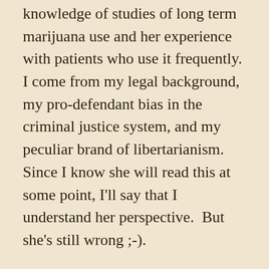knowledge of studies of long term marijuana use and her experience with patients who use it frequently.  I come from my legal background, my pro-defendant bias in the criminal justice system, and my peculiar brand of libertarianism.  Since I know she will read this at some point, I'll say that I understand her perspective.  But she's still wrong ;-).
Now, on to the ranking.
Biden – Joe definitely has a ceiling when it comes to debates.  For me, this was one of his better ones.  Also, no one else really shined.  So, by default, Biden won this debate.  And he needed to, since South